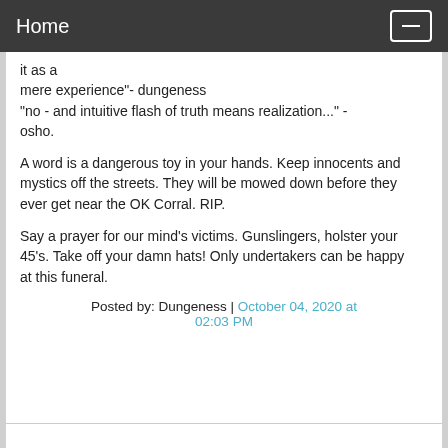Home
it as a
mere experience"- dungeness
"no - and intuitive flash of truth means realization..." -
osho.

A word is a dangerous toy in your hands. Keep innocents and
mystics off the streets. They will be mowed down before they
ever get near the OK Corral. RIP.

Say a prayer for our mind's victims. Gunslingers, holster your
45's. Take off your damn hats! Only undertakers can be happy
at this funeral.
Posted by: Dungeness | October 04, 2020 at 02:03 PM